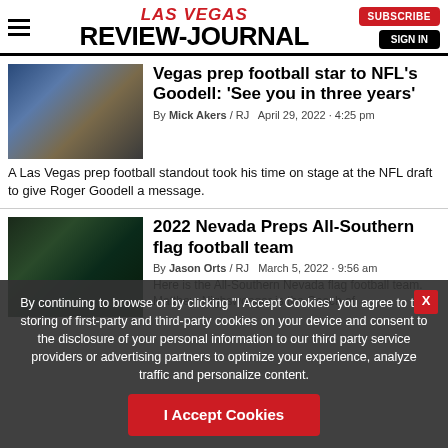LAS VEGAS REVIEW-JOURNAL | SUBSCRIBE | SIGN IN
Vegas prep football star to NFL's Goodell: 'See you in three years'
By Mick Akers / RJ  April 29, 2022 - 4:25 pm
A Las Vegas prep football standout took his time on stage at the NFL draft to give Roger Goodell a message.
2022 Nevada Preps All-Southern flag football team
By Jason Orts / RJ  March 5, 2022 - 9:56 am
Here is the All-Southern Nevada flag football team. Matthew Nighswonger is the Coach of the Year. Often leading Shadow by Destiny record, she Class A state to championship.
By continuing to browse or by clicking "I Accept Cookies" you agree to the storing of first-party and third-party cookies on your device and consent to the disclosure of your personal information to our third party service providers or advertising partners to optimize your experience, analyze traffic and personalize content.